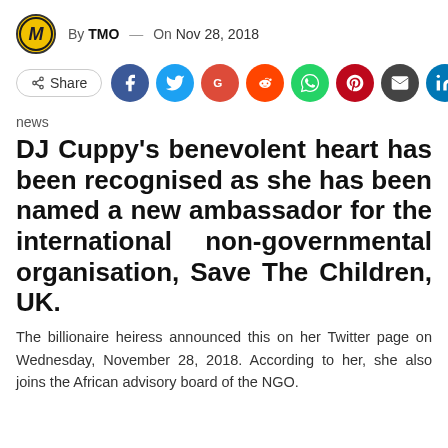By TMO — On Nov 28, 2018
[Figure (infographic): Social share bar with Share button and icons for Facebook, Twitter, Google+, Reddit, WhatsApp, Pinterest, Email, LinkedIn]
news
DJ Cuppy's benevolent heart has been recognised as she has been named a new ambassador for the international non-governmental organisation, Save The Children, UK.
The billionaire heiress announced this on her Twitter page on Wednesday, November 28, 2018. According to her, she also joins the African advisory board of the NGO.